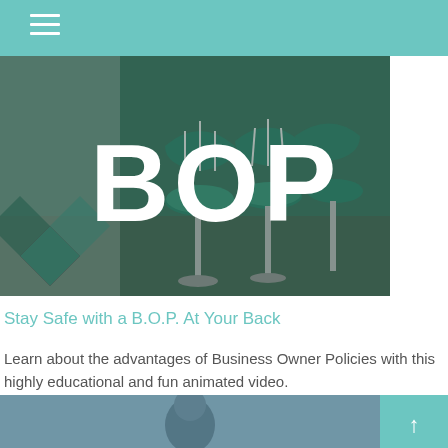Navigation header with hamburger menu
[Figure (photo): Diner scene with green vinyl bar stools and chrome poles, with large white bold text 'BOP' overlaid on the image]
Stay Safe with a B.O.P. At Your Back
Learn about the advantages of Business Owner Policies with this highly educational and fun animated video.
[Figure (photo): Partial view of a person's head/silhouette against a blurred background, bottom of page video thumbnail]